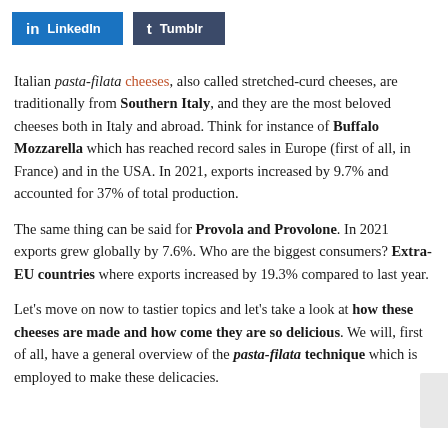[Figure (other): LinkedIn and Tumblr social share buttons]
Italian pasta-filata cheeses, also called stretched-curd cheeses, are traditionally from Southern Italy, and they are the most beloved cheeses both in Italy and abroad. Think for instance of Buffalo Mozzarella which has reached record sales in Europe (first of all, in France) and in the USA. In 2021, exports increased by 9.7% and accounted for 37% of total production.
The same thing can be said for Provola and Provolone. In 2021 exports grew globally by 7.6%. Who are the biggest consumers? Extra-EU countries where exports increased by 19.3% compared to last year.
Let's move on now to tastier topics and let's take a look at how these cheeses are made and how come they are so delicious. We will, first of all, have a general overview of the pasta-filata technique which is employed to make these delicacies.